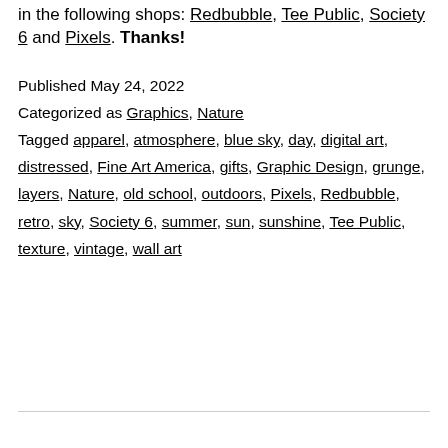in the following shops: Redbubble, Tee Public, Society 6 and Pixels. Thanks!
Published May 24, 2022
Categorized as Graphics, Nature
Tagged apparel, atmosphere, blue sky, day, digital art, distressed, Fine Art America, gifts, Graphic Design, grunge, layers, Nature, old school, outdoors, Pixels, Redbubble, retro, sky, Society 6, summer, sun, sunshine, Tee Public, texture, vintage, wall art